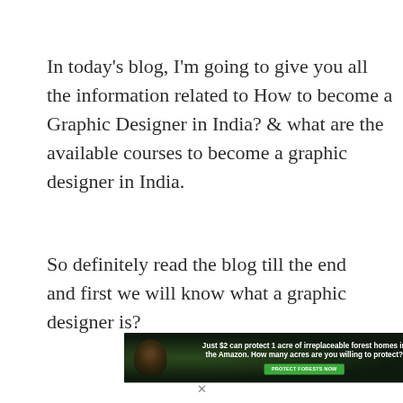In today's blog, I'm going to give you all the information related to How to become a Graphic Designer in India? & what are the available courses to become a graphic designer in India.
So definitely read the blog till the end and first we will know what a graphic designer is?
[Figure (infographic): Advertisement banner with dark forest background showing a primate/orangutan and text: 'Just $2 can protect 1 acre of irreplaceable forest homes in the Amazon. How many acres are you willing to protect?' with a green 'PROTECT FORESTS NOW' button.]